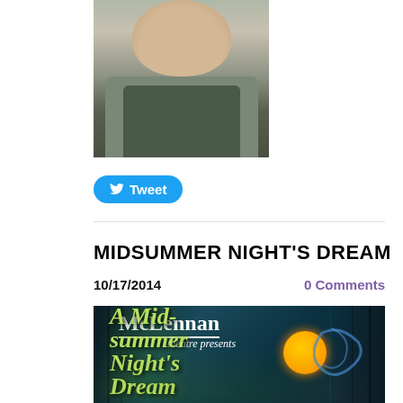[Figure (photo): Cropped photo of a person wearing a dark olive green t-shirt and light blue jacket, visible from chin to chest]
[Figure (other): Blue Tweet button with Twitter bird icon]
MIDSUMMER NIGHT'S DREAM
10/17/2014
0 Comments
[Figure (photo): McLennan Theatre presents A Midsummer Night's Dream promotional poster with dark teal forest background, white McLennan text, italic 'theatre presents' text, green stylized title text, and orange moon with decorative swirls]